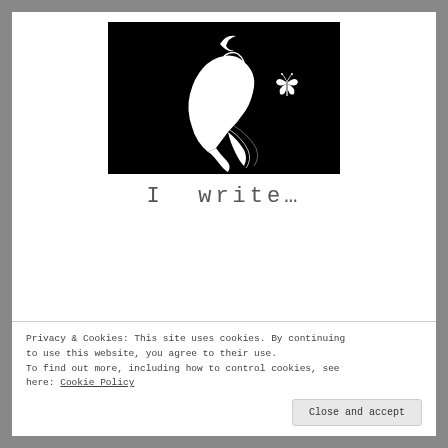[Figure (logo): Black background with white silhouette of a woman's face in profile, flowing hair, moon/crescent accent, and a butterfly flying nearby]
I write…
Privacy & Cookies: This site uses cookies. By continuing to use this website, you agree to their use.
To find out more, including how to control cookies, see here: Cookie Policy
Close and accept